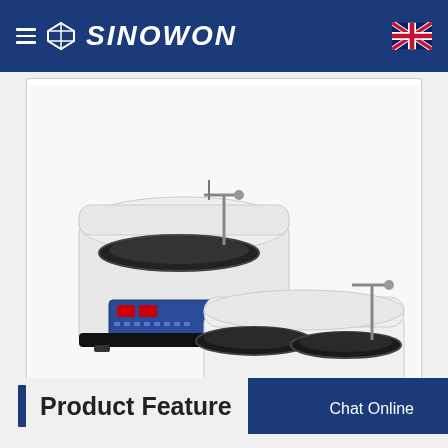SINOWON
[Figure (photo): Two laboratory polishing/grinding machines: a single-disc model (left/back) and a double-disc model (right/front), both white with black rotating disc platens and digital control panels, on white background.]
Product Feature
Chat Online